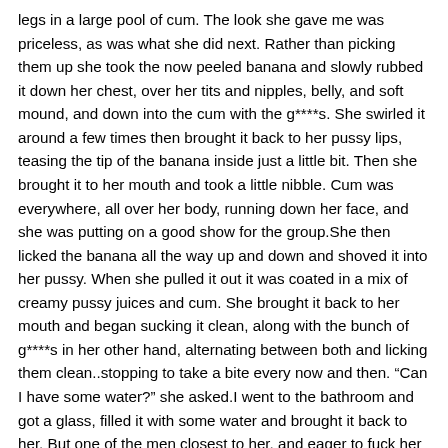legs in a large pool of cum. The look she gave me was priceless, as was what she did next. Rather than picking them up she took the now peeled banana and slowly rubbed it down her chest, over her tits and nipples, belly, and soft mound, and down into the cum with the g****s. She swirled it around a few times then brought it back to her pussy lips, teasing the tip of the banana inside just a little bit. Then she brought it to her mouth and took a little nibble. Cum was everywhere, all over her body, running down her face, and she was putting on a good show for the group.She then licked the banana all the way up and down and shoved it into her pussy. When she pulled it out it was coated in a mix of creamy pussy juices and cum. She brought it back to her mouth and began sucking it clean, along with the bunch of g****s in her other hand, alternating between both and licking them clean..stopping to take a bite every now and then. “Can I have some water?” she asked.I went to the bathroom and got a glass, filled it with some water and brought it back to her. But one of the men closest to her, and eager to fuck her as soon as she was done resting, took it from me. He chugged the water down and said